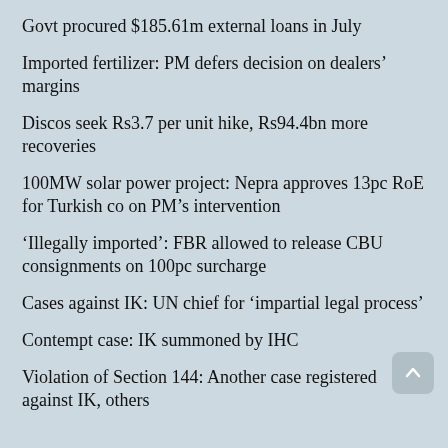Govt procured $185.61m external loans in July
Imported fertilizer: PM defers decision on dealers’ margins
Discos seek Rs3.7 per unit hike, Rs94.4bn more recoveries
100MW solar power project: Nepra approves 13pc RoE for Turkish co on PM’s intervention
‘Illegally imported’: FBR allowed to release CBU consignments on 100pc surcharge
Cases against IK: UN chief for ‘impartial legal process’
Contempt case: IK summoned by IHC
Violation of Section 144: Another case registered against IK, others